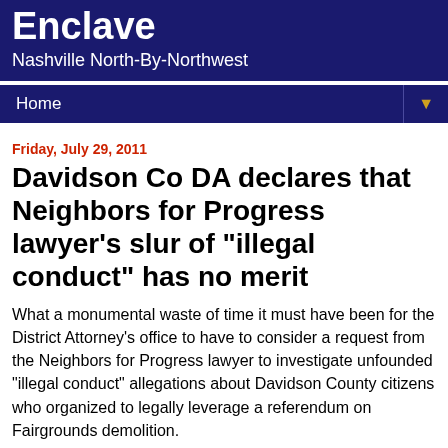Enclave
Nashville North-By-Northwest
Home
Friday, July 29, 2011
Davidson Co DA declares that Neighbors for Progress lawyer's slur of "illegal conduct" has no merit
What a monumental waste of time it must have been for the District Attorney's office to have to consider a request from the Neighbors for Progress lawyer to investigate unfounded "illegal conduct" allegations about Davidson County citizens who organized to legally leverage a referendum on Fairgrounds demolition.
From the beginning Democratic hack and former journo Colby Sledge and his NFP organization have slung mud at the intentions and the actions of those of us who supported the...